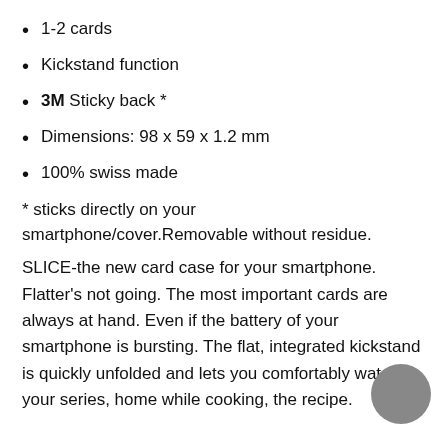1-2 cards
Kickstand function
3M Sticky back *
Dimensions: 98 x 59 x 1.2 mm
100% swiss made
* sticks directly on your smartphone/cover.Removable without residue.
SLICE-the new card case for your smartphone. Flatter's not going. The most important cards are always at hand. Even if the battery of your smartphone is bursting. The flat, integrated kickstand is quickly unfolded and lets you comfortably watch your series, home while cooking, the recipe.